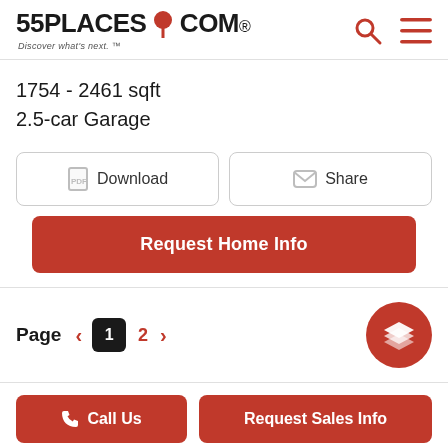55PLACES.COM Discover what's next.
1754 - 2461 sqft
2.5-car Garage
Download | Share
Request Home Info
Page 1 2
Call Us | Request Sales Info